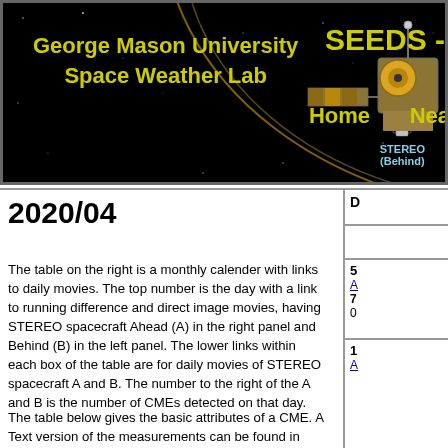[Figure (illustration): George Mason University Space Weather Lab website header banner. Shows a spacecraft (STEREO satellite) illustration on a black starfield background with golden orbital arcs. Yellow text reads 'George Mason University Space Weather Lab', 'SEEDS --', 'Home', 'Nea'. Blue text labels 'STEREO (Behind)' near a small spacecraft in the background.]
2020/04
The table on the right is a monthly calender with links to daily movies. The top number is the day with a link to running difference and direct image movies, having STEREO spacecraft Ahead (A) in the right panel and Behind (B) in the left panel. The lower links within each box of the table are for daily movies of STEREO spacecraft A and B. The number to the right of the A and B is the number of CMEs detected on that day.
The table below gives the basic attributes of a CME. A Text version of the measurements can be found in links under the